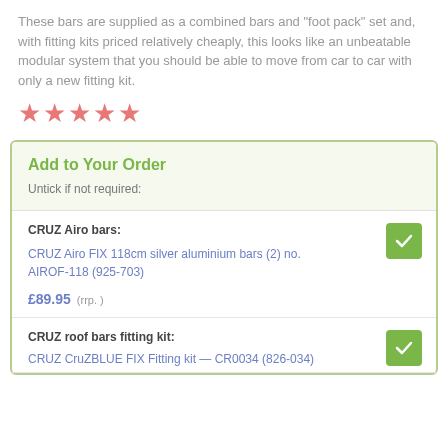These bars are supplied as a combined bars and "foot pack" set and, with fitting kits priced relatively cheaply, this looks like an unbeatable modular system that you should be able to move from car to car with only a new fitting kit.
[Figure (illustration): Five pink star rating icons]
Add to Your Order
Untick if not required:
CRUZ Airo bars: CRUZ Airo FIX 118cm silver aluminium bars (2) no. AIROF-118 (925-703) £89.95 (rrp. )
CRUZ roof bars fitting kit: